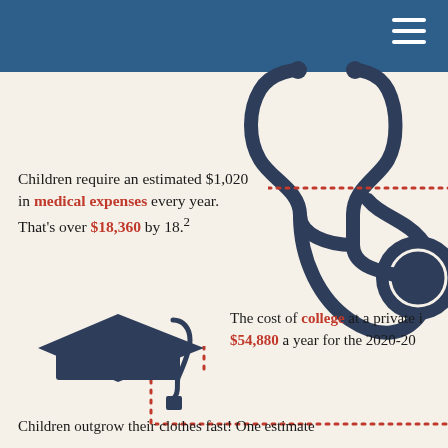[Figure (illustration): Stethoscope icon in dark navy blue]
Children require an estimated $1,020 in medical expenses every year. That’s over $18,360 by 18.²
[Figure (illustration): Graduation cap icon in dark navy blue]
The cost of college at a private i... $54,880 a year for the 2020-20...
Children outgrow their clothes fast! One estimate